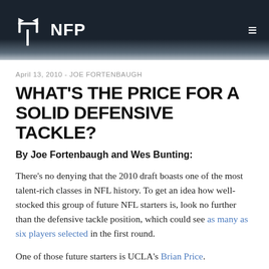NFP
April 13, 2010 - JOE FORTENBAUGH
WHAT'S THE PRICE FOR A SOLID DEFENSIVE TACKLE?
By Joe Fortenbaugh and Wes Bunting:
There's no denying that the 2010 draft boasts one of the most talent-rich classes in NFL history. To get an idea how well-stocked this group of future NFL starters is, look no further than the defensive tackle position, which could see as many as six players selected in the first round.
One of those future starters is UCLA's Brian Price.